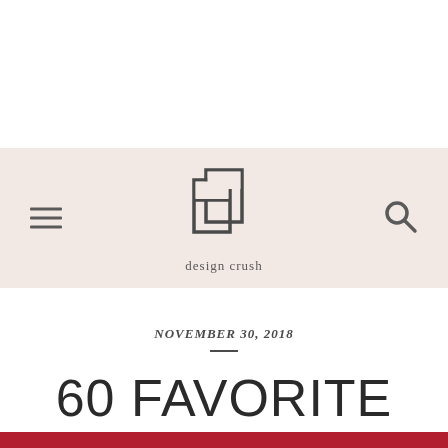[Figure (logo): Design Crush logo — geometric letterform resembling overlapping rectangles with a horizontal bar, above the text 'design crush']
NOVEMBER 30, 2018
60 FAVORITE HOLIDAY CARDS